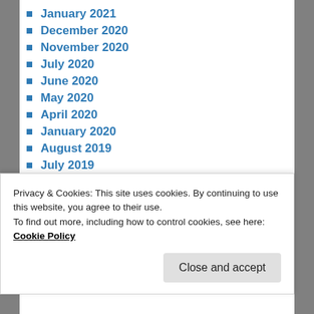January 2021
December 2020
November 2020
July 2020
June 2020
May 2020
April 2020
January 2020
August 2019
July 2019
June 2019
May 2019
April 2019
March 2019
Privacy & Cookies: This site uses cookies. By continuing to use this website, you agree to their use. To find out more, including how to control cookies, see here: Cookie Policy
Close and accept